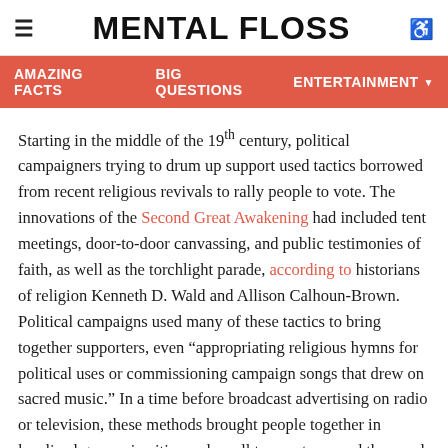MENTAL FLOSS
AMAZING FACTS   BIG QUESTIONS   ENTERTAINMENT
Starting in the middle of the 19th century, political campaigners trying to drum up support used tactics borrowed from recent religious revivals to rally people to vote. The innovations of the Second Great Awakening had included tent meetings, door-to-door canvassing, and public testimonies of faith, as well as the torchlight parade, according to historians of religion Kenneth D. Wald and Allison Calhoun-Brown. Political campaigns used many of these tactics to bring together supporters, even “appropriating religious hymns for political uses or commissioning campaign songs that drew on sacred music.” In a time before broadcast advertising on radio or television, these methods brought people together in localized groups in cities and small towns, to spread the word about a candidate’s worthiness.